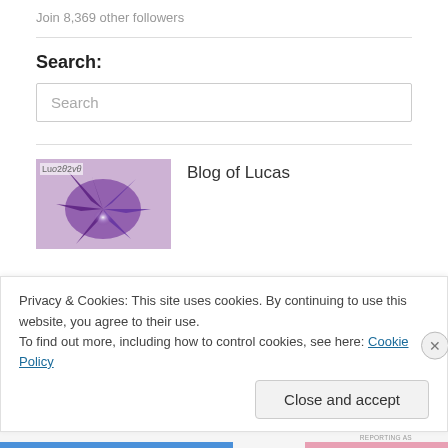Join 8,369 other followers
Search:
[Figure (screenshot): Search input box with placeholder text 'Search']
[Figure (photo): Blog of Lucas thumbnail image showing purple abstract art with spiky shapes and a bright center light on a light purple background]
Blog of Lucas
Privacy & Cookies: This site uses cookies. By continuing to use this website, you agree to their use.
To find out more, including how to control cookies, see here: Cookie Policy
Close and accept